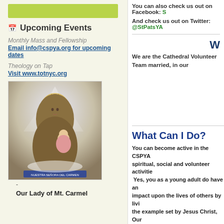[Figure (other): Green horizontal bar at top of left column]
Upcoming Events
Monthly Mass and Fellowship
Email info@cspya.org for upcoming dates
Theology on Tap
Visit www.totnyc.org
[Figure (illustration): Our Lady of Mt. Carmel religious illustration showing Virgin Mary with crown seated with infant Jesus]
-
Our Lady of Mt. Carmel
You can also check us out on Facebook: S
And check us out on Twitter: @StPatsYA
W
We are the Cathedral Volunteer Team married, in our
What Can I Do?
You can become active in the CSPYA spiritual, social and volunteer activities. Yes, you as a young adult do have an impact upon the lives of others by living the example set by Jesus Christ, Our